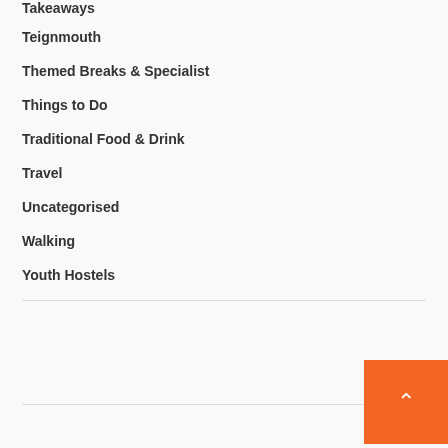Takeaways
Teignmouth
Themed Breaks & Specialist
Things to Do
Traditional Food & Drink
Travel
Uncategorised
Walking
Youth Hostels